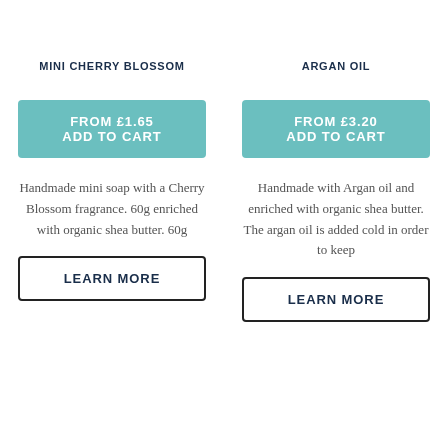MINI CHERRY BLOSSOM
ARGAN OIL
FROM £1.65 ADD TO CART
FROM £3.20 ADD TO CART
Handmade mini soap with a Cherry Blossom fragrance. 60g enriched with organic shea butter. 60g
Handmade with Argan oil and enriched with organic shea butter. The argan oil is added cold in order to keep
LEARN MORE
LEARN MORE